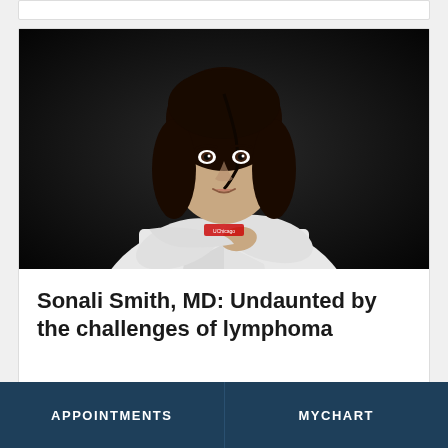[Figure (photo): Portrait photo of Dr. Sonali Smith, MD, in a white doctor's coat with arms crossed, against a dark background]
Sonali Smith, MD: Undaunted by the challenges of lymphoma
[Figure (photo): Partial view of an outdoor scene with green foliage (bottom card, partially visible)]
APPOINTMENTS  MYCHART